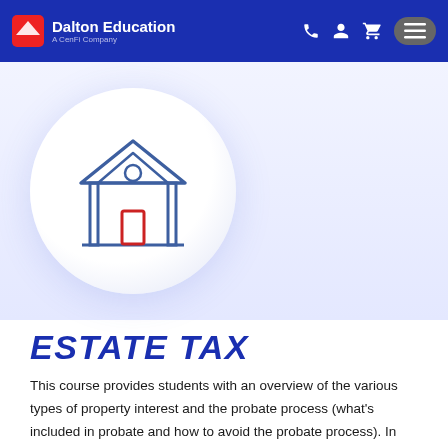Dalton Education — A CenFi Company
[Figure (illustration): Building/house icon with blue outline and red door, centered on a light circular background]
ESTATE TAX
This course provides students with an overview of the various types of property interest and the probate process (what's included in probate and how to avoid the probate process). In addition,